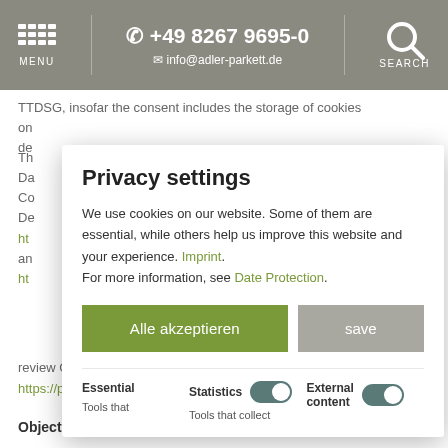MENU   +49 8267 9695-0   info@adler-parkett.de   SEARCH
TTDSG, insofar the consent includes the storage of cookies on...de...
Privacy settings
We use cookies on our website. Some of them are essential, while others help us improve this website and your experience. Imprint.
For more information, see Date Protection.
Alle akzeptieren   save
Essential   Statistics [toggle on]   External content [toggle on]
Tools that   Tools that collect
review Google's Data Privacy Declaration under:
https://policies.google.com/privacy?hl=en.
Objecting to the collection of data